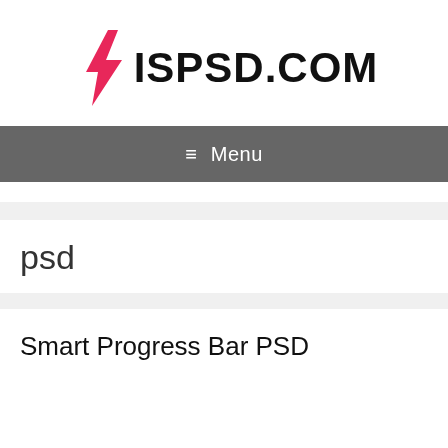[Figure (logo): Pink/red lightning bolt icon with text ISPSD.COM in bold black letters forming a website logo]
≡ Menu
psd
Smart Progress Bar PSD